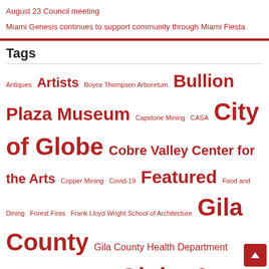August 23 Council meeting
Miami Genesis continues to support community through Miami Fiesta
Tags
Antiques Artists Boyce Thompson Arboretum Bullion Plaza Museum Capstone Mining CASA City of Globe Cobre Valley Center for the Arts Copper Mining Covid-19 Featured Food and Dining Forest Fires Frank Lloyd Wright School of Architecture Gila County Gila County Health Department Globe-Miami Globe Az Globe City Council Globe High School Globe Main Street Globe Police GUSD Home and Garden Local Business Local Events Local Governance Miami Az Miami High School Mining Music Obituaries Old Dominion Mine Park Pinal Fire Profiles Resolution Copper San Carlos Apache Tribe